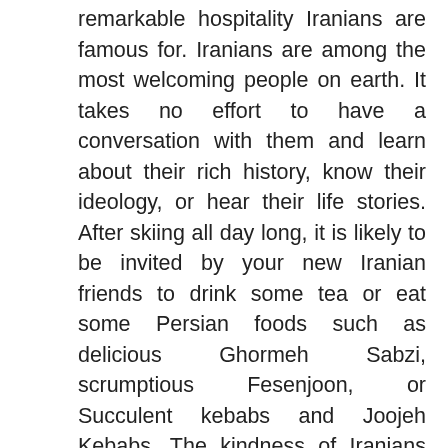remarkable hospitality Iranians are famous for. Iranians are among the most welcoming people on earth. It takes no effort to have a conversation with them and learn about their rich history, know their ideology, or hear their life stories. After skiing all day long, it is likely to be invited by your new Iranian friends to drink some tea or eat some Persian foods such as delicious Ghormeh Sabzi, scrumptious Fesenjoon, or Succulent kebabs and Joojeh Kebabs. The kindness of Iranians will enrich your Iran ski holiday experience and it will make you positively change your point of view. Once back home, you may also love to share your memorable experiences with your friends and families for encouraging them to visit Iran as well.